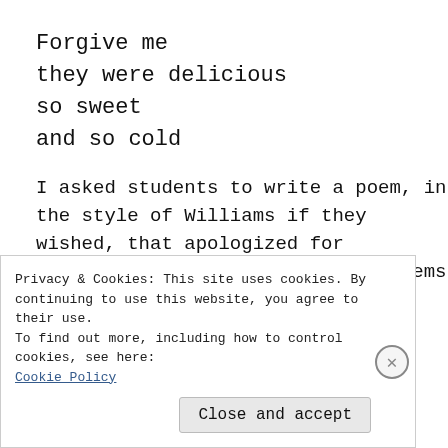Forgive me
they were delicious
so sweet
and so cold
I asked students to write a poem, in the style of Williams if they wished, that apologized for something. Most students wrote poems like this one from Justin A:
I have talked
in the hallways
Privacy & Cookies: This site uses cookies. By continuing to use this website, you agree to their use.
To find out more, including how to control cookies, see here:
Cookie Policy
Close and accept